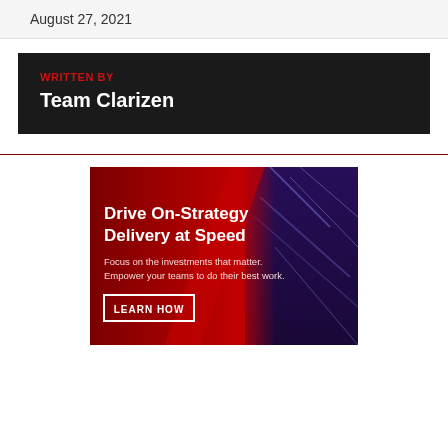August 27, 2021
WRITTEN BY
Team Clarizen
[Figure (infographic): Clarizen promotional banner with dark red gradient background and blurred blue highway image on the right. Text reads: 'Drive On-Strategy Delivery at Speed. Focus on the investments that matter. Empower your teams to do their best work.' with a 'LEARN HOW' button.]